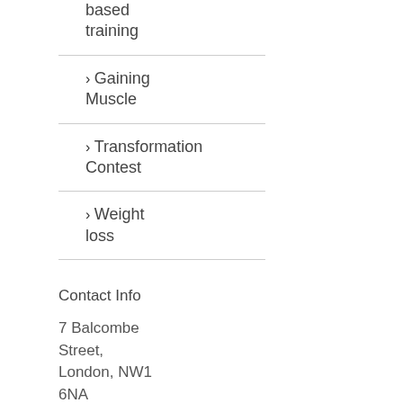based training
Gaining Muscle
Transformation Contest
Weight loss
Contact Info
7 Balcombe Street, London, NW1 6NA
Mobile: 07951